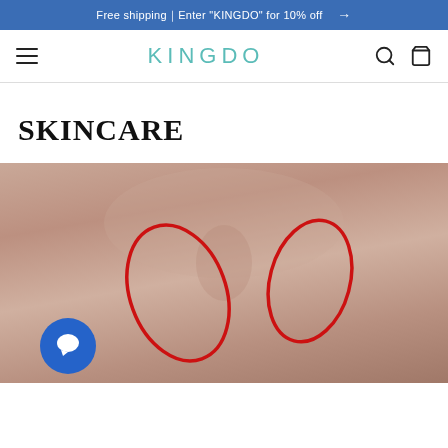Free shipping｜Enter "KINGDO" for 10% off →
KINGDO
SKINCARE
[Figure (photo): Close-up photo of a woman's face (nose and mouth area) with two red oval circles drawn on the cheeks to highlight nasolabial fold / wrinkle areas. A blue chat bubble icon is visible in the lower left.]